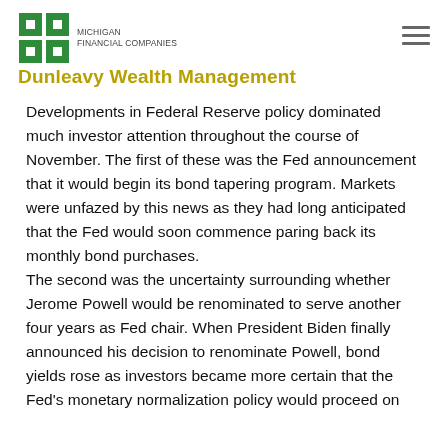[Figure (logo): Michigan Financial Companies / Dunleavy Wealth Management logo with green grid icon]
Developments in Federal Reserve policy dominated much investor attention throughout the course of November. The first of these was the Fed announcement that it would begin its bond tapering program. Markets were unfazed by this news as they had long anticipated that the Fed would soon commence paring back its monthly bond purchases. The second was the uncertainty surrounding whether Jerome Powell would be renominated to serve another four years as Fed chair. When President Biden finally announced his decision to renominate Powell, bond yields rose as investors became more certain that the Fed's monetary normalization policy would proceed on